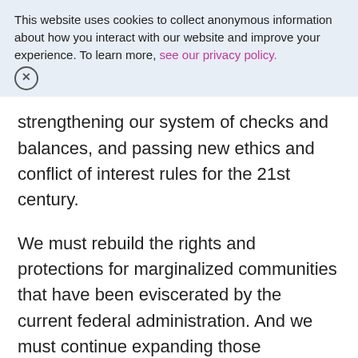This website uses cookies to collect anonymous information about how you interact with our website and improve your experience. To learn more, see our privacy policy.
strengthening our system of checks and balances, and passing new ethics and conflict of interest rules for the 21st century.
We must rebuild the rights and protections for marginalized communities that have been eviscerated by the current federal administration. And we must continue expanding those protections to move our nation closer to what we aspire to be. That means, as a start, restoring the Voting Rights Act and passing legislation like the Equality Act, the Justice in Policing Act, and comprehensive immigration reform.
And we must realign the values of our nation to point to in the century ahead and a better future. That...